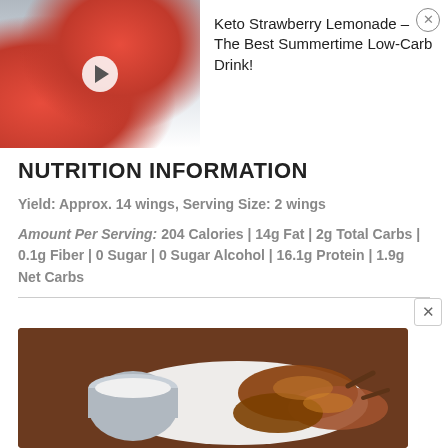[Figure (photo): Ad banner showing keto strawberry lemonade drinks in red glasses with lemon slices, strawberries in background]
Keto Strawberry Lemonade - The Best Summertime Low-Carb Drink!
NUTRITION INFORMATION
Yield: Approx. 14 wings, Serving Size: 2 wings
Amount Per Serving: 204 Calories | 14g Fat | 2g Total Carbs | 0.1g Fiber | 0 Sugar | 0 Sugar Alcohol | 16.1g Protein | 1.9g Net Carbs
[Figure (photo): Chicken wings with dipping sauce in a metal cup on a white plate, on a wooden surface]